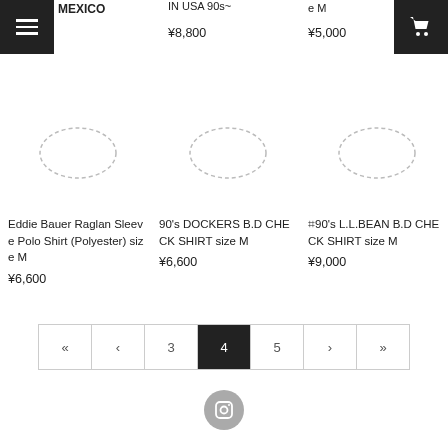MEXICO
IN USA 90s~
¥8,800
e M
¥5,000
[Figure (illustration): Placeholder dashed oval image for Eddie Bauer Raglan Sleeve Polo Shirt]
Eddie Bauer Raglan Sleeve Polo Shirt (Polyester) size M
¥6,600
[Figure (illustration): Placeholder dashed oval image for 90's DOCKERS B.D CHECK SHIRT]
90's DOCKERS B.D CHECK SHIRT size M
¥6,600
[Figure (illustration): Placeholder dashed oval image for 90's L.L.BEAN B.D CHECK SHIRT]
?90's L.L.BEAN B.D CHECK SHIRT size M
¥9,000
« ‹ 3 4 5 › »